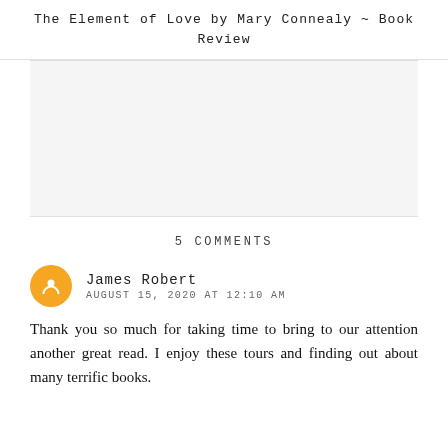The Element of Love by Mary Connealy ~ Book Review
[Figure (other): Large image placeholder area, light gray background]
5 COMMENTS
James Robert
AUGUST 15, 2020 AT 12:10 AM
Thank you so much for taking time to bring to our attention another great read. I enjoy these tours and finding out about many terrific books.